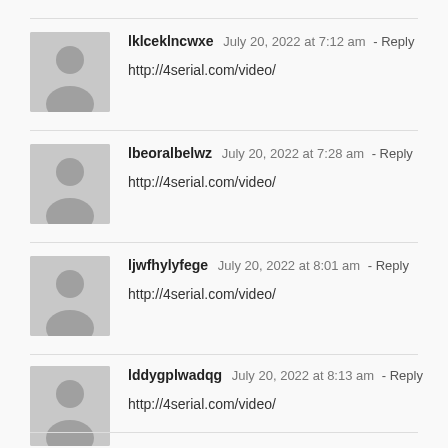lklceklncwxe  July 20, 2022 at 7:12 am - Reply
http://4serial.com/video/
lbeoralbelwz  July 20, 2022 at 7:28 am - Reply
http://4serial.com/video/
ljwfhylyfege  July 20, 2022 at 8:01 am - Reply
http://4serial.com/video/
lddygplwadqg  July 20, 2022 at 8:13 am - Reply
http://4serial.com/video/
lklwwdcncxe  July 20, 2022 at 8:41 am - Reply